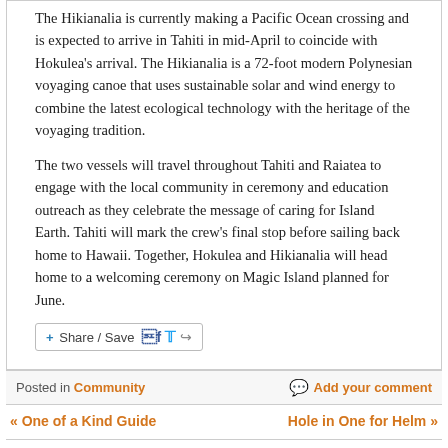The Hikianalia is currently making a Pacific Ocean crossing and is expected to arrive in Tahiti in mid-April to coincide with Hokulea's arrival. The Hikianalia is a 72-foot modern Polynesian voyaging canoe that uses sustainable solar and wind energy to combine the latest ecological technology with the heritage of the voyaging tradition.
The two vessels will travel throughout Tahiti and Raiatea to engage with the local community in ceremony and education outreach as they celebrate the message of caring for Island Earth. Tahiti will mark the crew's final stop before sailing back home to Hawaii. Together, Hokulea and Hikianalia will head home to a welcoming ceremony on Magic Island planned for June.
Share / Save
Posted in Community   Add your comment
« One of a Kind Guide    Hole in One for Helm »
You must login to post a comment.
Don't have a Molokai Dispatch ID?
Username or Email Address
Sign up is easy.
Password